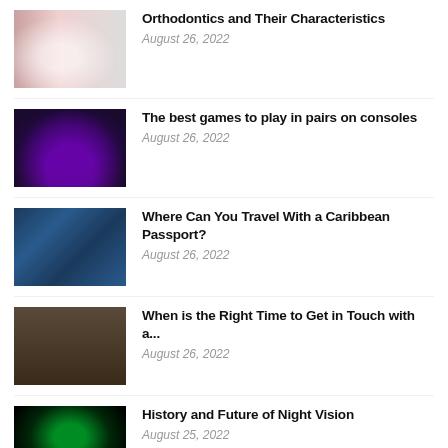[Figure (photo): Close-up of teeth with dental braces/orthodontic appliance]
Orthodontics and Their Characteristics
August 26, 2022
[Figure (photo): Dark gaming/theater room with purple ambient lighting and a screen]
The best games to play in pairs on consoles
August 26, 2022
[Figure (photo): Multiple blue passports laid out, Caribbean passports with gold emblem]
Where Can You Travel With a Caribbean Passport?
August 26, 2022
[Figure (photo): Lawyer or professional woman writing at a desk with scales of justice]
When is the Right Time to Get in Touch with a...
August 26, 2022
[Figure (photo): Person wearing night vision goggles with green glow effect]
History and Future of Night Vision
August 25, 2022